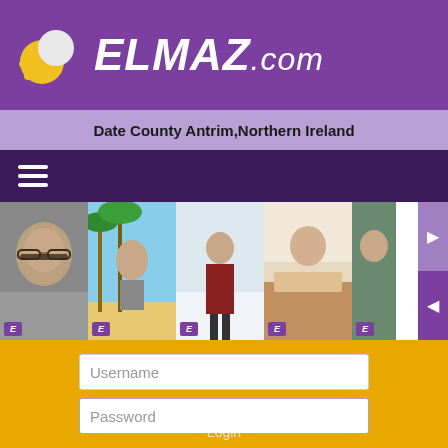ELMAZ.com
Date County Antrim,Northern Ireland
[Figure (screenshot): Horizontal strip of 5 profile photos of men, each with an E badge in the corner, and navigation arrows on the right]
Username
Password
To provide its services Elmaz.com uses "cookies". By clicking "I understand" or continuing to browser in the site, you agree with the cookies we use.
Learn more
Registration
I understand